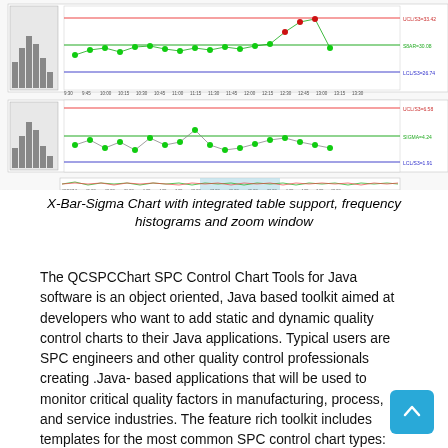[Figure (screenshot): Screenshot of QCSPCChart SPC Control Chart showing X-Bar-Sigma charts with integrated table, frequency histograms on the left, main control charts in the center with UCL/mean/LCL lines, and a zoom window strip at the bottom. Data points are plotted as green dots with some red outlier dots. Control limit labels visible on the right side.]
X-Bar-Sigma Chart with integrated table support, frequency histograms and zoom window
The QCSPCChart SPC Control Chart Tools for Java software is an object oriented, Java based toolkit aimed at developers who want to add static and dynamic quality control charts to their Java applications. Typical users are SPC engineers and other quality control professionals creating .Java- based applications that will be used to monitor critical quality factors in manufacturing, process, and service industries. The feature rich toolkit includes templates for the most common SPC control chart types: variable control charts (X-Bar R, X-Bar Sigma, Individual Range, Median Range, EWMA, MA, MAMR, MAMS and CuSum charts), attribute control charts (p-, np-, c-,  u-, and DPMO- charts), frequency histograms, probability charts and Pareto